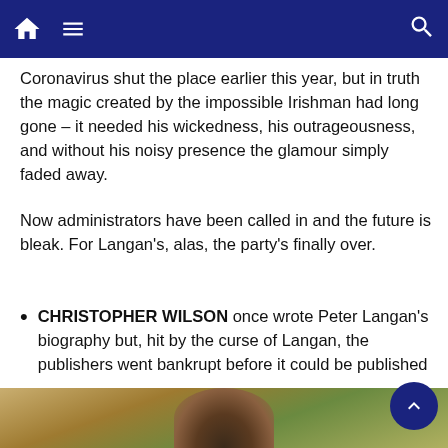Navigation bar with home, menu, and search icons
Coronavirus shut the place earlier this year, but in truth the magic created by the impossible Irishman had long gone – it needed his wickedness, his outrageousness, and without his noisy presence the glamour simply faded away.
Now administrators have been called in and the future is bleak. For Langan's, alas, the party's finally over.
CHRISTOPHER WILSON once wrote Peter Langan's biography but, hit by the curse of Langan, the publishers went bankrupt before it could be published
Source: Read Full Article
INTERESTING FOR YOU
[Figure (photo): Bottom portion of page showing a photo strip with a person's head visible, blurred/partial image]